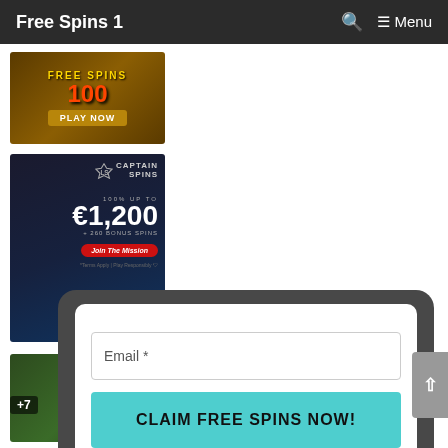Free Spins 1  🔍 ≡ Menu
[Figure (screenshot): Casino ad banner showing FREE SPINS and PLAY NOW button with golden temple theme]
[Figure (screenshot): Captain Spins casino ad: 100% UP TO €1,200 + 260 BONUS SPINS, Join The Mission button]
[Figure (screenshot): Partially visible casino ad banner with +7 badge]
Email *
CLAIM FREE SPINS NOW!